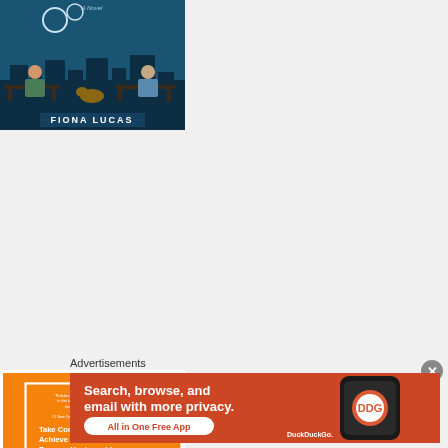[Figure (illustration): Book cover illustration: two people sitting on a park bench at night with a dog between them, city skyline in background, teal/dark blue color scheme. Author: FIONA LUCAS, subtitle: A Novel]
[Figure (illustration): Book cover for 'Not Today' - orange background with white border. Quote at top, subtitle 'Take Control of Your TIME, Achieve Your Goals, Become Unstoppable', large text 'NOT' with red strikethrough and 'TODAY' in large serif font]
Advertisements
[Figure (illustration): DuckDuckGo advertisement banner: orange/red background with text 'Search, browse, and email with more privacy. All in One Free App' and image of phone with DuckDuckGo logo]